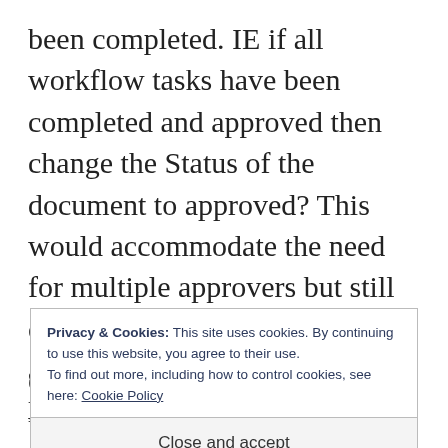been completed. IE if all workflow tasks have been completed and approved then change the Status of the document to approved? This would accommodate the need for multiple approvers but still create a version of the doc with a date and time stamp so that at least you could look through the version history and see if any changes have been made to the doc since it
Privacy & Cookies: This site uses cookies. By continuing to use this website, you agree to their use.
To find out more, including how to control cookies, see here: Cookie Policy
Close and accept
else only uses this workflow with PDF's??